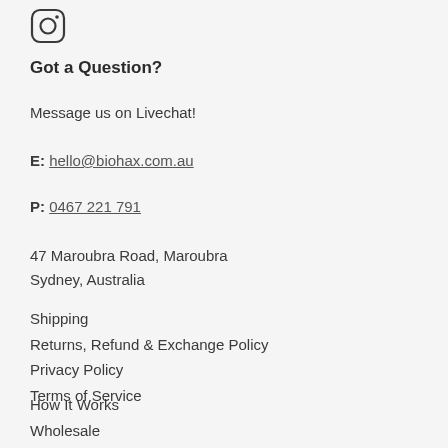[Figure (logo): Instagram icon (rounded square with circle inside)]
Got a Question?
Message us on Livechat!
E: hello@biohax.com.au
P: 0467 221 791
47 Maroubra Road, Maroubra
Sydney, Australia
Shipping
Returns, Refund & Exchange Policy
Privacy Policy
Terms of Service
How It Works
Wholesale